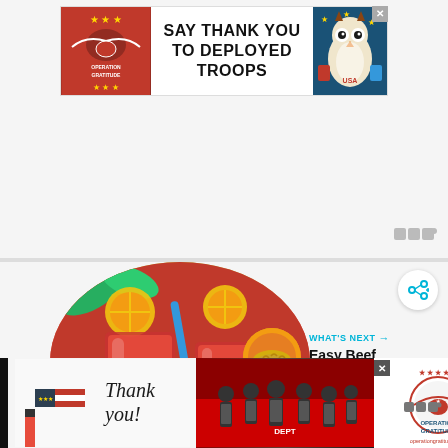[Figure (illustration): Operation Gratitude banner advertisement: red logo on left with stars and eagle emblem, center text 'SAY THANK YOU TO DEPLOYED TROOPS' in large bold black letters, patriotic owl mascot on right with stars and USA imagery. Close button top right.]
[Figure (photo): Circular cropped photo of pink/red strawberry lemonade drinks in glasses with lemon/lime slices and a blue straw, on a red background. Share button (circular with arrow/plus icon) overlaid top right.]
WHAT'S NEXT → Easy Beef Empanadas
[Figure (illustration): Bottom advertisement bar: 'Thank you!' handwritten script on left, group photo of firefighters/first responders in center, Operation Gratitude logo on right. Dark background. Close button. Winstrip logo bottom right.]